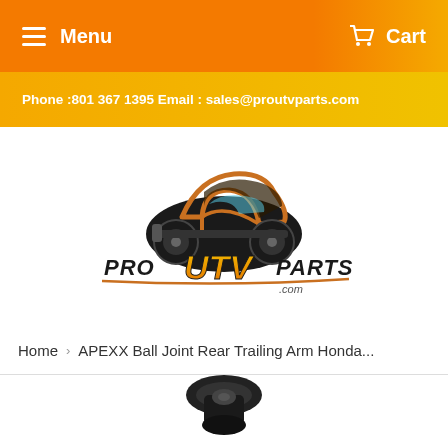Menu  Cart
Phone :801 367 1395 Email : sales@proutvparts.com
[Figure (logo): Pro UTV Parts logo with UTV vehicle silhouette and stylized text reading PRO UTV PARTS .com]
Home  › APEXX Ball Joint Rear Trailing Arm Honda...
[Figure (photo): Partial view of a black ball joint auto part at the bottom of the page]